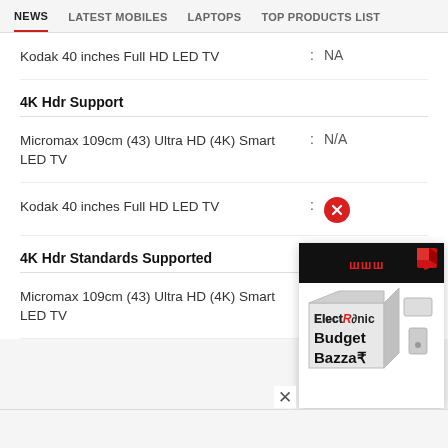NEWS  LATEST MOBILES  LAPTOPS  TOP PRODUCTS LIST
Kodak 40 inches Full HD LED TV : NA
4K Hdr Support
Micromax 109cm (43) Ultra HD (4K) Smart LED TV : N/A
Kodak 40 inches Full HD LED TV : [X icon - not supported]
4K Hdr Standards Supported
Micromax 109cm (43) Ultra HD (4K) Smart LED TV : N/A
[Figure (illustration): Advertisement box for ElectROnic Budget Bazzar showing a cube-shaped product box with red branding and small red 3D cube icon]